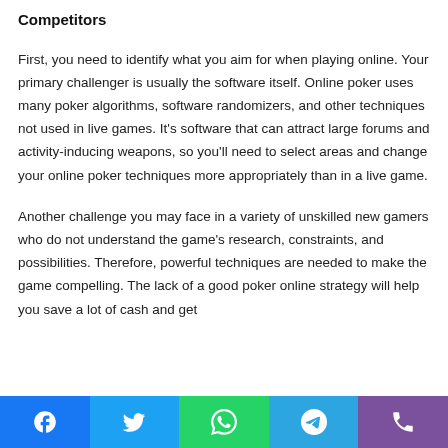Competitors
First, you need to identify what you aim for when playing online. Your primary challenger is usually the software itself. Online poker uses many poker algorithms, software randomizers, and other techniques not used in live games. It's software that can attract large forums and activity-inducing weapons, so you'll need to select areas and change your online poker techniques more appropriately than in a live game.
Another challenge you may face in a variety of unskilled new gamers who do not understand the game's research, constraints, and possibilities. Therefore, powerful techniques are needed to make the game compelling. The lack of a good poker online strategy will help you save a lot of cash and get
[Figure (infographic): Social sharing bar with icons for Facebook, Twitter, WhatsApp, Telegram, and Viber]